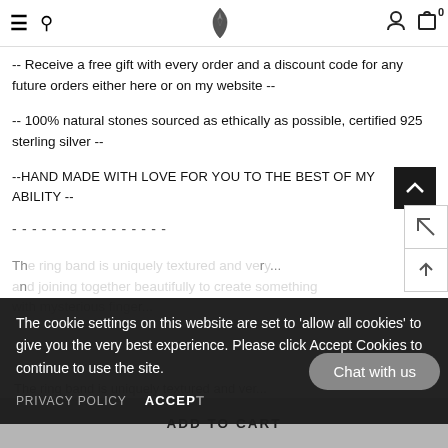Navigation bar with hamburger menu, search, logo, user icon, cart (0)
-- Receive a free gift with every order and a discount code for any future orders either here or on my website --
-- 100% natural stones sourced as ethically as possible, certified 925 sterling silver --
--HAND MADE WITH LOVE FOR YOU TO THE BEST OF MY ABILITY --
----------------
The cookie settings on this website are set to 'allow all cookies' to give you the very best experience. Please click Accept Cookies to continue to use the site.
PRIVACY POLICY   ACCEPT
Chat with us
ADD TO CART